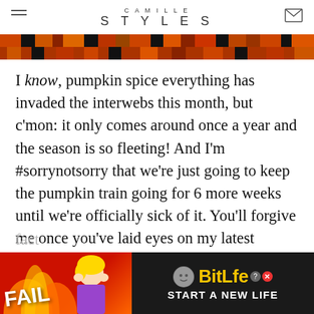CAMILLE STYLES
[Figure (photo): Decorative banner image with colorful patterned textile or food items in orange, red, black tones]
I know, pumpkin spice everything has invaded the interwebs this month, but c’mon: it only comes around once a year and the season is so fleeting! And I’m #sorrynotsorry that we’re just going to keep the pumpkin train going for 6 more weeks until we’re officially sick of it. You’ll forgive me once you’ve laid eyes on my latest baking experiment, these pumpkin spice mini cinnamon rolls that are the easiest, cutest, and most delicious way to celebrate the fact
[Figure (advertisement): BitLife START A NEW LIFE advertisement with red background, cartoon character, flames, FAIL text, and BitLife logo on dark right panel]